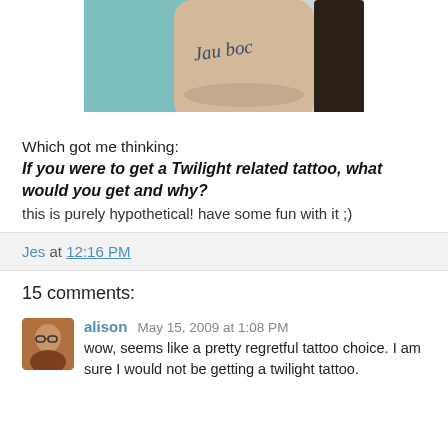[Figure (photo): Close-up photo of a wrist showing a tattoo with cursive text, partial view cropped at top]
Which got me thinking:
If you were to get a Twilight related tattoo, what would you get and why?
this is purely hypothetical! have some fun with it ;)
Jes at 12:16 PM
15 comments:
alison May 15, 2009 at 1:08 PM
wow, seems like a pretty regretful tattoo choice. I am sure I would not be getting a twilight tattoo.